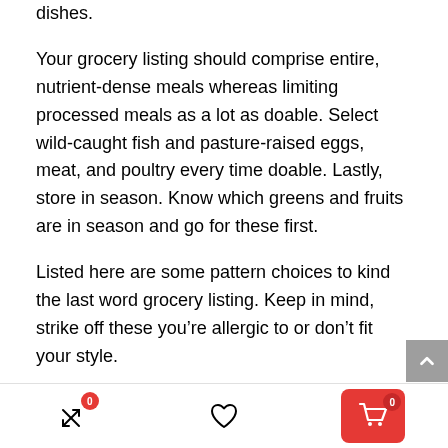dishes.
Your grocery listing should comprise entire, nutrient-dense meals whereas limiting processed meals as a lot as doable. Select wild-caught fish and pasture-raised eggs, meat, and poultry every time doable. Lastly, store in season. Know which greens and fruits are in season and go for these first.
Listed here are some pattern choices to kind the last word grocery listing. Keep in mind, strike off these you’re allergic to or don’t fit your style.
Excessive Protein Meals for Weight
0  [heart]  0 [cart]